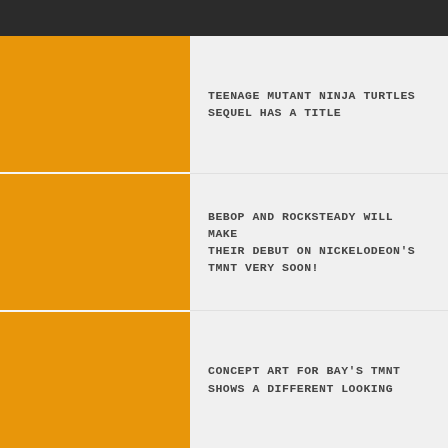[Figure (illustration): Orange rectangular image block 1 - left column top]
TEENAGE MUTANT NINJA TURTLES SEQUEL HAS A TITLE
[Figure (illustration): Orange rectangular image block 2 - left column middle]
BEBOP AND ROCKSTEADY WILL MAKE THEIR DEBUT ON NICKELODEON'S TMNT VERY SOON!
[Figure (illustration): Orange rectangular image block 3 - left column bottom]
CONCEPT ART FOR BAY'S TMNT SHOWS A DIFFERENT LOOKING